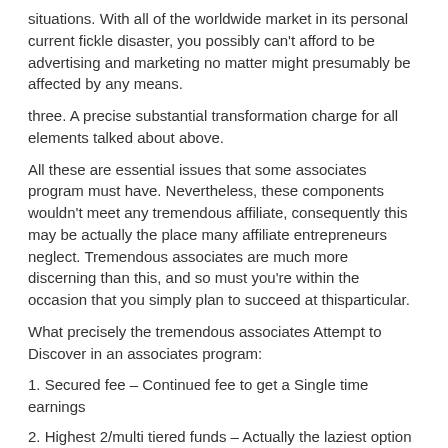situations. With all of the worldwide market in its personal current fickle disaster, you possibly can't afford to be advertising and marketing no matter might presumably be affected by any means.
three. A precise substantial transformation charge for all elements talked about above.
All these are essential issues that some associates program must have. Nevertheless, these components wouldn't meet any tremendous affiliate, consequently this may be actually the place many affiliate entrepreneurs neglect. Tremendous associates are much more discerning than this, and so must you're within the occasion that you simply plan to succeed at thisparticular.
What precisely the tremendous associates Attempt to Discover in an associates program:
1. Secured fee – Continued fee to get a Single time earnings
2. Highest 2/multi tiered funds – Actually the laziest option to create cashflow
three. Greatest consumables – Options, permits, memberships and non-discretionary consumables
four. Most annoyance to change from – Companies which individuals will stay utilizing for a few years, for continued funds
Seethe unusual affiliate assumes that tremendous associates will